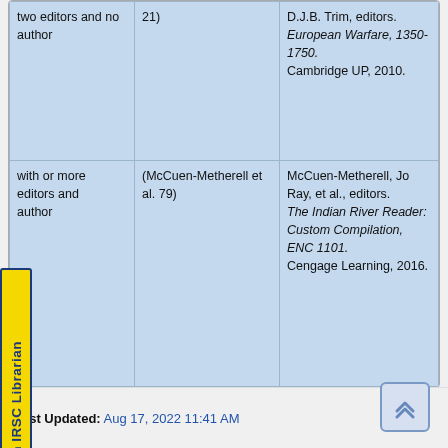| Type | In-text citation | Works Cited entry |
| --- | --- | --- |
| two editors and no author | 21) | D.J.B. Trim, editors. European Warfare, 1350-1750. Cambridge UP, 2010. |
| with or more editors and author | (McCuen-Metherell et al. 79) | McCuen-Metherell, Jo Ray, et al., editors. The Indian River Reader: Custom Compilation, ENC 1101. Cengage Learning, 2016. |
[Figure (other): Yellow 'Ask an IRSC Librarian' button on left side, rotated vertically]
Last Updated: Aug 17, 2022 11:41 AM